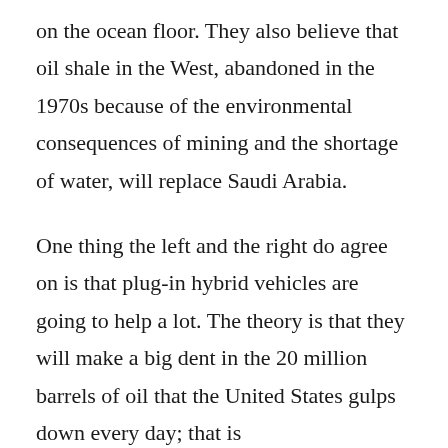on the ocean floor. They also believe that oil shale in the West, abandoned in the 1970s because of the environmental consequences of mining and the shortage of water, will replace Saudi Arabia.
One thing the left and the right do agree on is that plug-in hybrid vehicles are going to help a lot. The theory is that they will make a big dent in the 20 million barrels of oil that the United States gulps down every day; that is